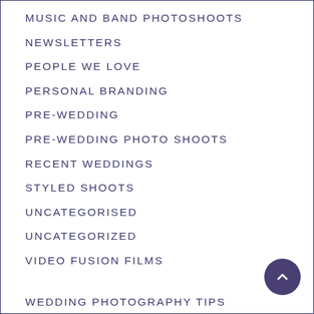MUSIC AND BAND PHOTOSHOOTS
NEWSLETTERS
PEOPLE WE LOVE
PERSONAL BRANDING
PRE-WEDDING
PRE-WEDDING PHOTO SHOOTS
RECENT WEDDINGS
STYLED SHOOTS
UNCATEGORISED
UNCATEGORIZED
VIDEO FUSION FILMS
WEDDING PHOTOGRAPHY TIPS